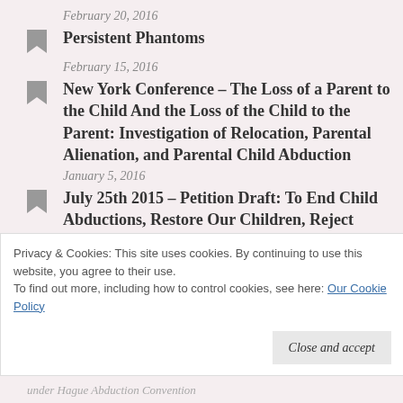February 20, 2016
Persistent Phantoms
February 15, 2016
New York Conference – The Loss of a Parent to the Child And the Loss of the Child to the Parent: Investigation of Relocation, Parental Alienation, and Parental Child Abduction
January 5, 2016
July 25th 2015 – Petition Draft: To End Child Abductions, Restore Our Children, Reject “Online Video Parenting”, and Stop the Goons!
July 26, 2015
Privacy & Cookies: This site uses cookies. By continuing to use this website, you agree to their use.
To find out more, including how to control cookies, see here: Our Cookie Policy
under Hague Abduction Convention